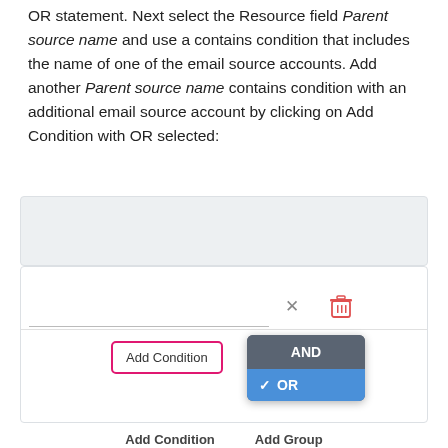OR statement. Next select the Resource field Parent source name and use a contains condition that includes the name of one of the email source accounts. Add another Parent source name contains condition with an additional email source account by clicking on Add Condition with OR selected:
[Figure (screenshot): UI screenshot showing a filter condition builder. Top section shows a gray panel. Bottom section shows a condition row with a text field, an X close icon, and a red trash icon. Below that is an 'Add Condition' button with a pink/red border, and a dropdown showing 'AND' and 'OR' (with checkmark) options. At the very bottom are 'Add Condition' and 'Add Group' buttons.]